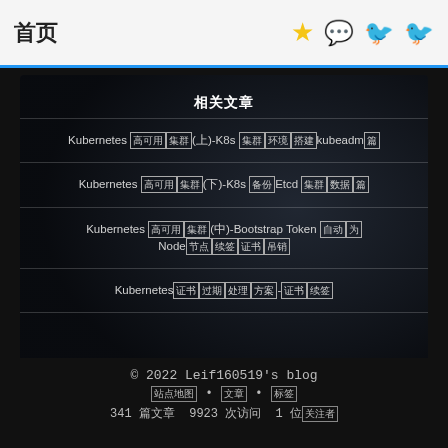首页 ★ WeChat Weibo Twitter
相关文章
Kubernetes 高可用集群(上)-K8s 集群环境搭建kubeadm篇
Kubernetes 高可用集群(下)-K8s 备份Etcd 集群数据篇
Kubernetes 高可用集群(中)-Bootstrap Token 自动为Node节点续签证书吊销
Kubernetes证书过期处理方案-证书续签
© 2022 Leif160519's blog
站点地图 • 文章 • 标签
341 篇文章  9923 次访问  1 位关注者